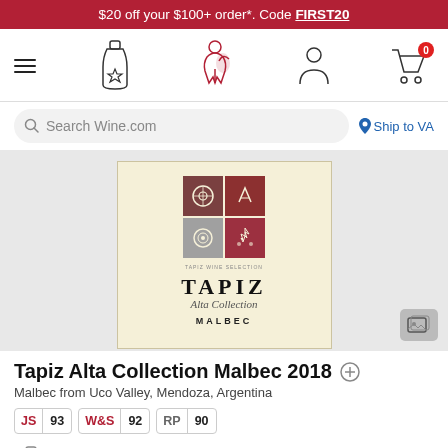$20 off your $100+ order*. Code FIRST20
[Figure (screenshot): Wine.com navigation bar with hamburger menu, wine bottle star icon, sommelier icon, user account icon, and shopping cart with 0 items]
Search Wine.com   Ship to VA
[Figure (photo): Tapiz Alta Collection Malbec wine bottle label showing four-square logo with symbols and TAPIZ Alta Collection MALBEC text on cream background]
Tapiz Alta Collection Malbec 2018
Malbec from Uco Valley, Mendoza, Argentina
JS 93   W&S 92   RP 90
Currently Unavailable (est. $19.99)